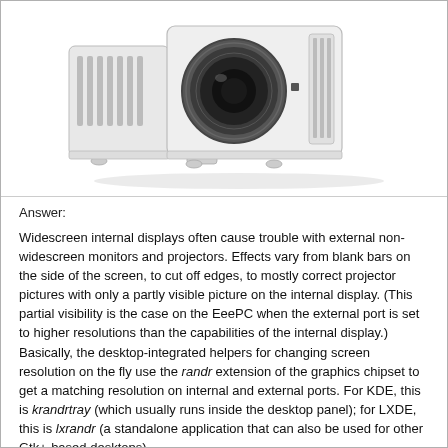[Figure (photo): White projector with large lens, viewed from the front-right angle, shown on white background.]
Answer:
Widescreen internal displays often cause trouble with external non-widescreen monitors and projectors. Effects vary from blank bars on the side of the screen, to cut off edges, to mostly correct projector pictures with only a partly visible picture on the internal display. (This partial visibility is the case on the EeePC when the external port is set to higher resolutions than the capabilities of the internal display.) Basically, the desktop-integrated helpers for changing screen resolution on the fly use the randr extension of the graphics chipset to get a matching resolution on internal and external ports. For KDE, this is krandrtray (which usually runs inside the desktop panel); for LXDE, this is lxrandr (a standalone application that can also be used for other Gtk+-based desktops).
For some chipsets, it is even possible to have different (virtual)